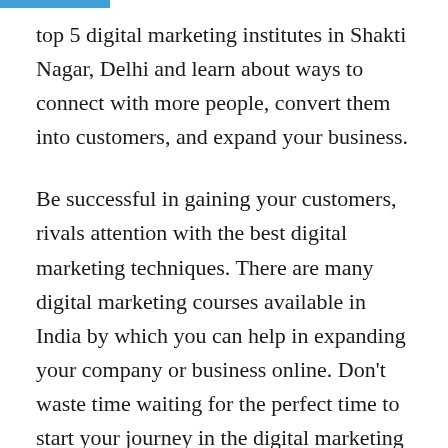top 5 digital marketing institutes in Shakti Nagar, Delhi and learn about ways to connect with more people, convert them into customers, and expand your business.
Be successful in gaining your customers, rivals attention with the best digital marketing techniques. There are many digital marketing courses available in India by which you can help in expanding your company or business online. Don’t waste time waiting for the perfect time to start your journey in the digital marketing field, begin now and beat your competition by using the most advanced digital strategies.
The demand for professionals, experts, and